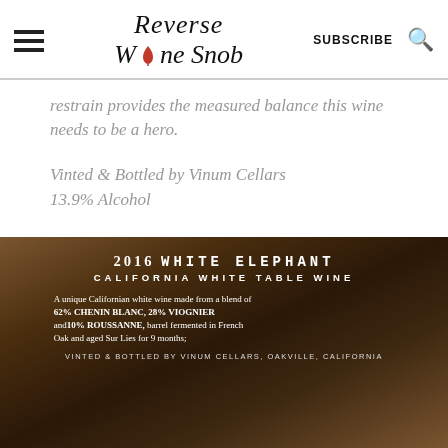Reverse Wine Snob | SUBSCRIBE
restrain provides the measured balance this wine needs to be a hero.
Vinted & Bottled by Vinum Cellars 13.9% Alcohol
[Figure (photo): Photo of wine bottle back label reading: 2016 WHITE ELEPHANT CALIFORNIA WHITE TABLE WINE. A unique Californian white wine made from a blend of 62% CHENIN BLANC, 28% VIOGNIER and 10% ROUSSANNE, barrel fermented in French Oak and aged Sur Lies for 9 months. VINTED & BOTTLED BY VINUM CELLARS, OAKVILLE, CALIFORNIA]